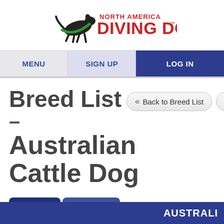[Figure (logo): North America Diving Dogs logo with dog silhouette and red/blue text]
MENU | SIGN UP | LOG IN
Breed List – Australian Cattle Dog
Back to Breed List | Breed R...
Active | Inactive
Scroll to Top
AUSTRALI...